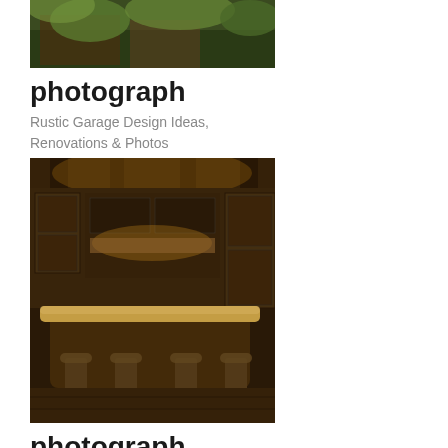[Figure (photo): Rustic garage exterior with green plants/foliage visible, partial view at top of page]
photograph
Rustic Garage Design Ideas,
Renovations & Photos
[Figure (photo): Rustic lodge style kitchen interior with dark wood cabinetry, large island with bar stools and granite countertop, warm amber lighting]
photograph
Rustic Lodge style home - Rustic - Kitchen - houston - by
[Figure (photo): Broken image placeholder with link text: kayak-storage-ideas-Landscape-Modern-with-back-yard-boat]
photograph